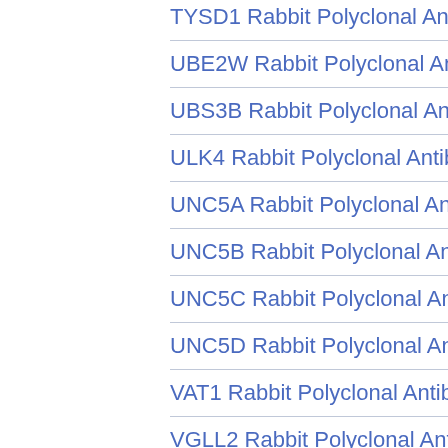TYSD1 Rabbit Polyclonal Antibody
UBE2W Rabbit Polyclonal Antibody
UBS3B Rabbit Polyclonal Antibody
ULK4 Rabbit Polyclonal Antibody
UNC5A Rabbit Polyclonal Antibody
UNC5B Rabbit Polyclonal Antibody
UNC5C Rabbit Polyclonal Antibody
UNC5D Rabbit Polyclonal Antibody
VAT1 Rabbit Polyclonal Antibody
VGLL2 Rabbit Polyclonal Antibody
VGLL4 Rabbit Polyclonal Antibody
VRK1 Rabbit Polyclonal Antibody
WNK3 Rabbit Polyclonal Antibody